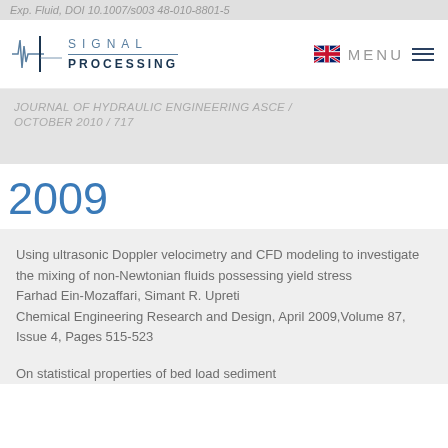Exp. Fluid, DOI 10.1007/s003 48-010-8801-5
[Figure (logo): Signal Processing logo with waveform icon, SIGNAL PROCESSING text in two rows]
MENU
JOURNAL OF HYDRAULIC ENGINEERING ASCE / OCTOBER 2010 / 717
2009
Using ultrasonic Doppler velocimetry and CFD modeling to investigate the mixing of non-Newtonian fluids possessing yield stress
Farhad Ein-Mozaffari, Simant R. Upreti
Chemical Engineering Research and Design, April 2009,Volume 87, Issue 4, Pages 515-523
On statistical properties of bed load sediment